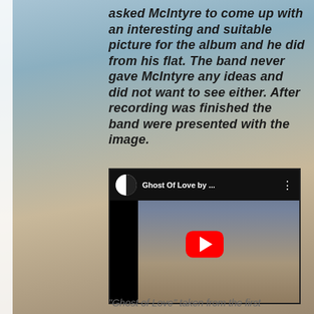asked McIntyre to come up with an interesting and suitable picture for the album and he did from his flat. The band never gave McIntyre any ideas and did not want to see either. After recording was finished the band were presented with the image.
[Figure (screenshot): YouTube video embed showing 'Ghost Of Love by ...' with a black header bar containing a half-white half-black face icon, video title, and three-dot menu. The thumbnail shows an album cover with band members seated and a red YouTube play button overlaid in the center.]
"Ghost of Love" taken from the first